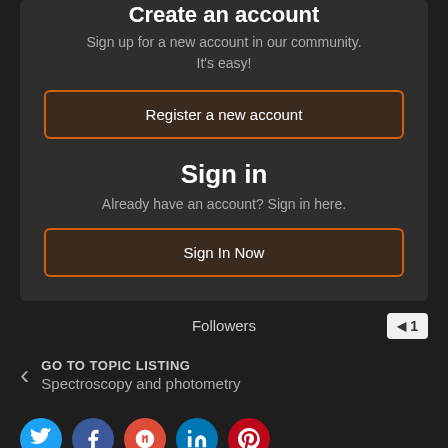Create an account
Sign up for a new account in our community.
It's easy!
Register a new account
Sign in
Already have an account? Sign in here.
Sign In Now
Followers
1
GO TO TOPIC LISTING
Spectroscopy and photometry